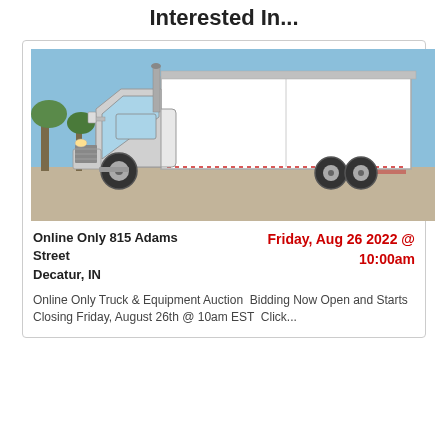Interested In...
[Figure (photo): White Freightliner box truck parked on a paved lot with blue sky and trees in the background. The truck has a large white box cargo body. Photo taken from a slight front-right angle.]
Online Only 815 Adams Street
Decatur, IN
Friday, Aug 26 2022 @ 10:00am
Online Only Truck & Equipment Auction  Bidding Now Open and Starts Closing Friday, August 26th @ 10am EST  Click...